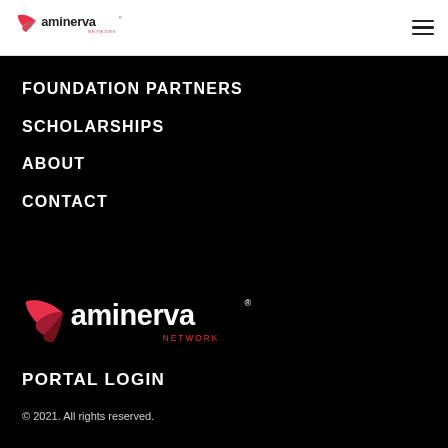Aminerva Network — navigation header with logo and hamburger menu
FOUNDATION PARTNERS
SCHOLARSHIPS
ABOUT
CONTACT
[Figure (logo): Aminerva Network logo — white text with red wing icon on black background]
PORTAL LOGIN
© 2021. All rights reserved.